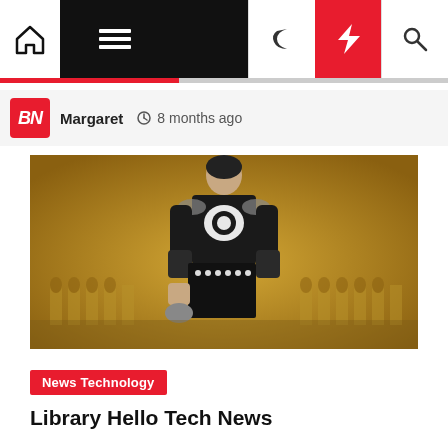Navigation bar with home, menu, moon, bolt, and search icons
Margaret  8 months ago
[Figure (photo): A gladiator in black and white armor standing in front of a coliseum on a golden background]
News Technology
Library Hello Tech News